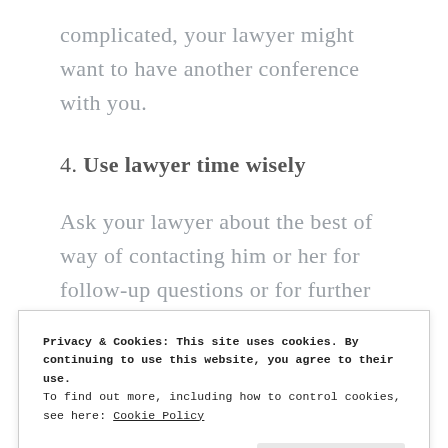complicated, your lawyer might want to have another conference with you.
4. Use lawyer time wisely
Ask your lawyer about the best of way of contacting him or her for follow-up questions or for further data.  Most lawyers welcome email inquiries because they can respond
Privacy & Cookies: This site uses cookies. By continuing to use this website, you agree to their use.
To find out more, including how to control cookies, see here: Cookie Policy
Close and accept
prefacing your call with  I just have